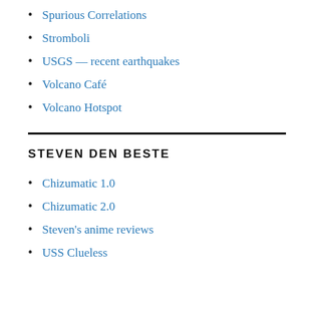Spurious Correlations
Stromboli
USGS — recent earthquakes
Volcano Café
Volcano Hotspot
STEVEN DEN BESTE
Chizumatic 1.0
Chizumatic 2.0
Steven's anime reviews
USS Clueless